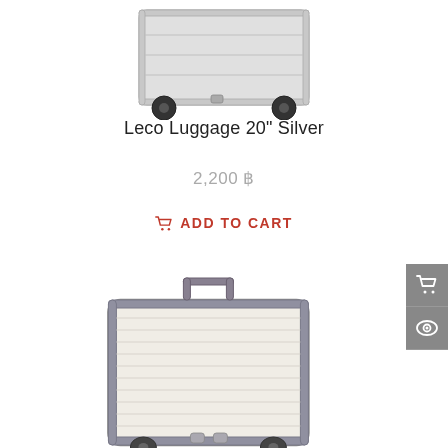[Figure (photo): Silver aluminum-frame luggage suitcase, partially cropped at top, viewed from front-right angle, with four wheels visible]
Leco Luggage 20" Silver
2,200 ฿
ADD TO CART
[Figure (photo): Cream/beige hard-shell luggage with horizontal ribbed texture, dark grey frame and handle, four spinner wheels, viewed from front-right angle]